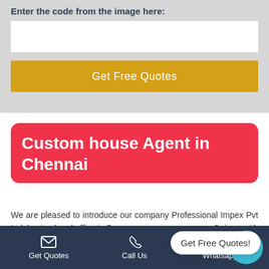Enter the code from the image here:
Get Free Quotes
Custom house Agent in Chennai
We are pleased to introduce our company Professional Impex Pvt Ltd, having head office in De Gujarat with branch office in the major Air & Sea ports in
Get Free Quotes!
Get Quotes   Call Us   Whatsapp